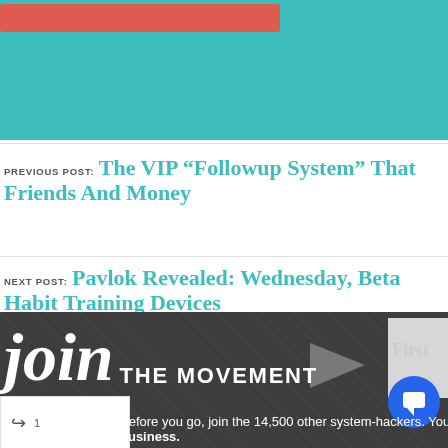[Figure (screenshot): Teal/turquoise banner at top with a red/coral bar element]
PREVIOUS POST: The VIP “Followup System” That Friends And Money
NEXT POST: Pavlok Revealed: Wednesday, Beta Habit Training Devices
[Figure (infographic): Dark gray banner with 'join THE MOVEMENT' text in large white letters, a gray arrow shape, white box with 'First' text, and a blue circle with chat icon]
Before you go, join the 14,500 other system-hackers. You’ll get a fr—de to business.